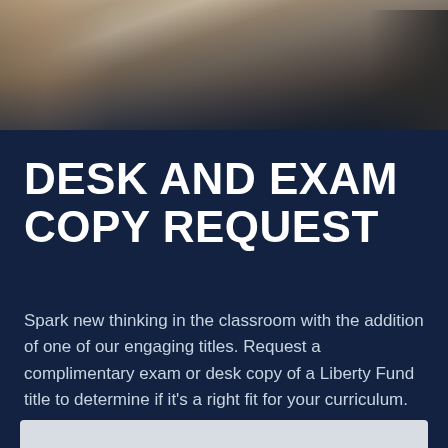[Figure (photo): A hallway or corridor with railings and carpet runner, viewed at an angle, with a person partially visible on the right. Neutral and dark tones.]
DESK AND EXAM COPY REQUEST
Spark new thinking in the classroom with the addition of one of our engaging titles. Request a complimentary exam or desk copy of a Liberty Fund title to determine if it's a right fit for your curriculum.